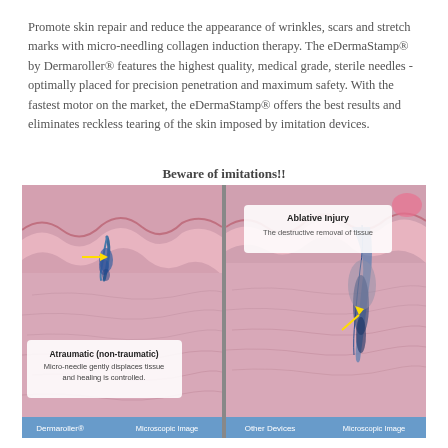Promote skin repair and reduce the appearance of wrinkles, scars and stretch marks with micro-needling collagen induction therapy. The eDermaStamp® by Dermaroller® features the highest quality, medical grade, sterile needles - optimally placed for precision penetration and maximum safety. With the fastest motor on the market, the eDermaStamp® offers the best results and eliminates reckless tearing of the skin imposed by imitation devices.
Beware of imitations!!
[Figure (photo): Two microscopic images side by side. Left image labeled 'Dermaroller® Microscopic Image' shows atraumatic (non-traumatic) micro-needle gently displacing tissue with controlled healing — skin cross-section with pink tissue layers and a needle channel. Right image labeled 'Other Devices Microscopic Image' shows ablative injury — the destructive removal of tissue, with a deeper, more destructive channel into the tissue.]